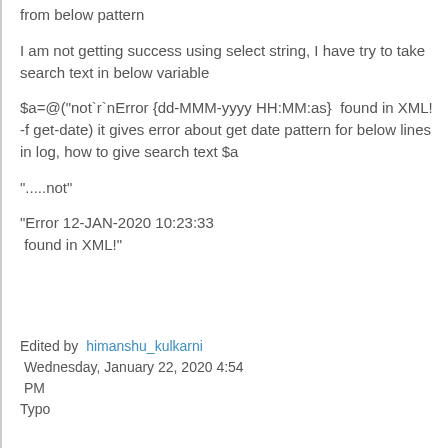from below pattern
I am not getting success using select string, I have try to take search text in below variable
$a=@("not`r`nError {dd-MMM-yyyy HH:MM:as}  found in XML!  -f get-date) it gives error about get date pattern for below lines in log, how to give search text $a
"…..not"
"Error 12-JAN-2020 10:23:33  found in XML!"
Edited by  himanshu_kulkarni
 Wednesday, January 22, 2020 4:54 PM
Typo